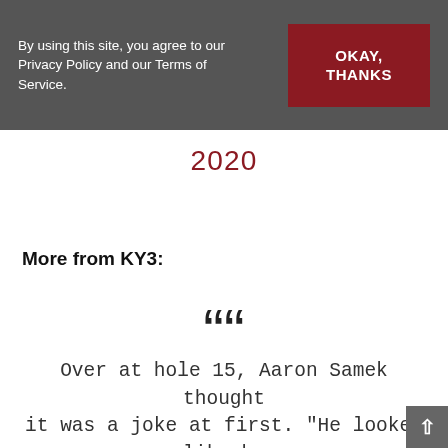By using this site, you agree to our Privacy Policy and our Terms of Service.
OKAY, THANKS
2020
More from KY3:
““
Over at hole 15, Aaron Samek thought it was a joke at first. "He looked like he was having fun, didn't looked stressed out," Samek said.
"After that we just ended up playing our game," Davis Southard said.